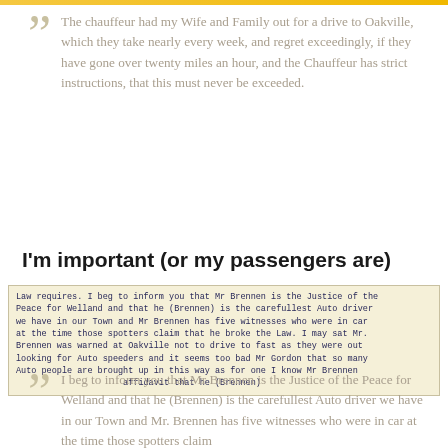The chauffeur had my Wife and Family out for a drive to Oakville, which they take nearly every week, and regret exceedingly, if they have gone over twenty miles an hour, and the Chauffeur has strict instructions, that this must never be exceeded.
I'm important (or my passengers are)
[Figure (other): Scanned typewritten document excerpt discussing Mr Brennen being the Justice of the Peace for Welland and being identified as the carefullest Auto driver in town, with five witnesses who were in the car at the time those spotters claim that he broke the Law.]
I beg to inform you that Mr Brennen is the Justice of the Peace for Welland and that he (Brennen) is the carefullest Auto driver we have in our Town and Mr. Brennen has five witnesses who were in car at the time those spotters claim